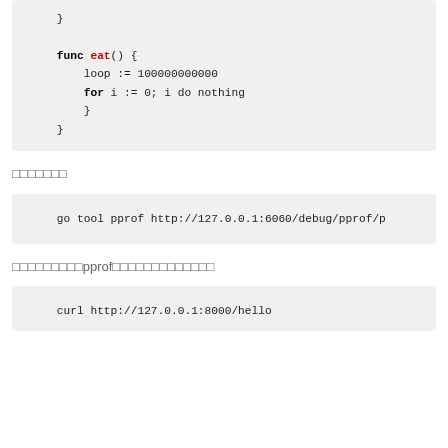[Figure (screenshot): Code block showing a Go function with eat() containing a loop variable set to 10000000000 and a for loop]
如何使用pprof分析Go程序性能（方块字符）
[Figure (screenshot): Code block showing: go tool pprof http://127.0.0.1:6060/debug/pprof/p]
然后打开浏览器输入pprof的地址，查看分析结果（方块字符）
[Figure (screenshot): Code block showing: curl http://127.0.0.1:8000/hello]